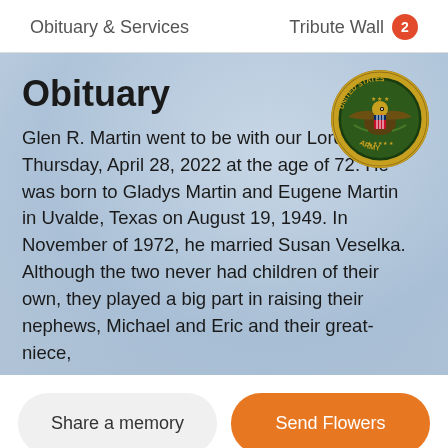Obituary & Services    Tribute Wall 2
Obituary
Glen R. Martin went to be with our Lord on Thursday, April 28, 2022 at the age of 72. He was born to Gladys Martin and Eugene Martin in Uvalde, Texas on August 19, 1949. In November of 1972, he married Susan Veselka. Although the two never had children of their own, they played a big part in raising their nephews, Michael and Eric and their great-niece,
[Figure (logo): United States Army seal/emblem — circular gold and green badge with eagle, shield, and 'UNITED STATES ARMY' text]
Share a memory
Send Flowers
Plant a Tree